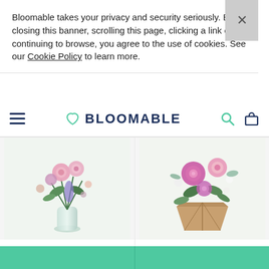Bloomable takes your privacy and security seriously. By closing this banner, scrolling this page, clicking a link or continuing to browse, you agree to the use of cookies. See our Cookie Policy to learn more.
[Figure (logo): Bloomable logo with heart icon and navigation bar including hamburger menu, search and cart icons]
[Figure (photo): With Love For You Vase Arrangement — pink roses and mixed flowers in a glass vase]
With Love For You Vase Arrangement
from R 900.00
[Figure (photo): Celebrate Kindness — pink roses and chrysanthemums wrapped in brown paper]
Celebrate Kindness
from R 445.00